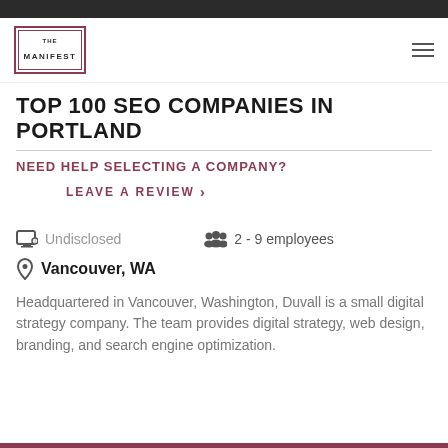[Figure (logo): The Manifest logo — nested square border with THE MANIFEST text]
TOP 100 SEO COMPANIES IN PORTLAND
NEED HELP SELECTING A COMPANY?
LEAVE A REVIEW >
Undisclosed   2 - 9 employees
Vancouver, WA
Headquartered in Vancouver, Washington, Duvall is a small digital strategy company. The team provides digital strategy, web design, branding, and search engine optimization.